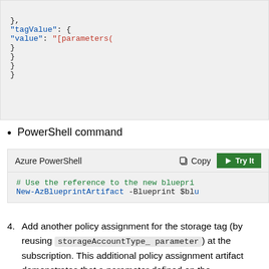[Figure (screenshot): JSON code block showing tagValue and value fields with parameters references, closing braces]
PowerShell command
[Figure (screenshot): Azure PowerShell code block with Copy and Try It buttons, showing # Use the reference to the new blueprint and New-AzBlueprintArtifact -Blueprint $blu]
4. Add another policy assignment for the storage tag (by reusing storageAccountType_ parameter) at the subscription. This additional policy assignment artifact demonstrates that a parameter defined on the blueprint...